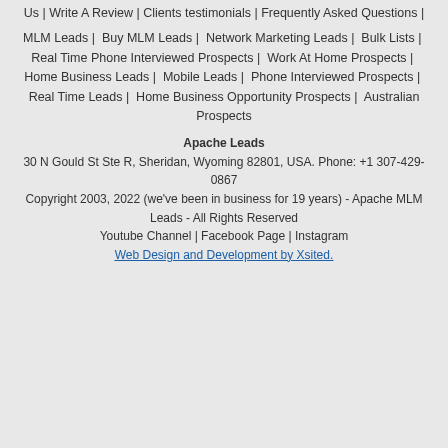Us | Write A Review | Clients testimonials | Frequently Asked Questions |
MLM Leads |  Buy MLM Leads |  Network Marketing Leads |  Bulk Lists |  Real Time Phone Interviewed Prospects |  Work At Home Prospects |  Home Business Leads |  Mobile Leads |  Phone Interviewed Prospects |  Real Time Leads |  Home Business Opportunity Prospects |  Australian Prospects
Apache Leads
30 N Gould St Ste R, Sheridan, Wyoming 82801, USA. Phone: +1 307-429-0867
Copyright 2003, 2022 (we've been in business for 19 years) - Apache MLM Leads - All Rights Reserved
Youtube Channel | Facebook Page | Instagram
Web Design and Development by Xsited.